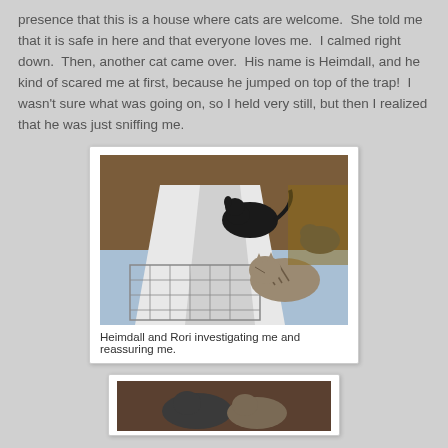presence that this is a house where cats are welcome. She told me that it is safe in here and that everyone loves me. I calmed right down. Then, another cat came over. His name is Heimdall, and he kind of scared me at first, because he jumped on top of the trap! I wasn't sure what was going on, so I held very still, but then I realized that he was just sniffing me.
[Figure (photo): Photo of two cats near a wire trap covered with a white sheet on a blue mat on a wooden floor. A black cat is on top of the trap and a tabby cat is sniffing near it.]
Heimdall and Rori investigating me and reassuring me.
[Figure (photo): Partial photo visible at the bottom of the page, appears to show cats.]